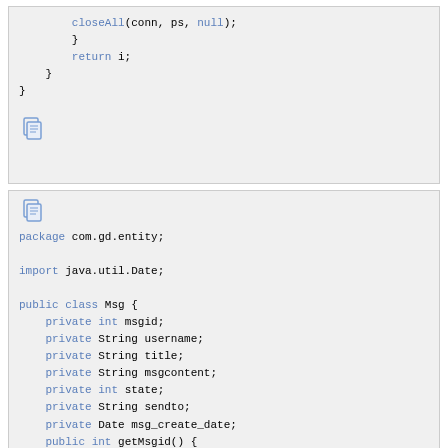[Figure (screenshot): Code block 1: closing code snippet with closeAll, return i, closing braces, and a copy icon]
[Figure (screenshot): Code block 2: Java class file starting with package com.gd.entity, import java.util.Date, public class Msg with private fields msgid, username, title, msgcontent, state, sendto, msg_create_date, and public int getMsgid() method]